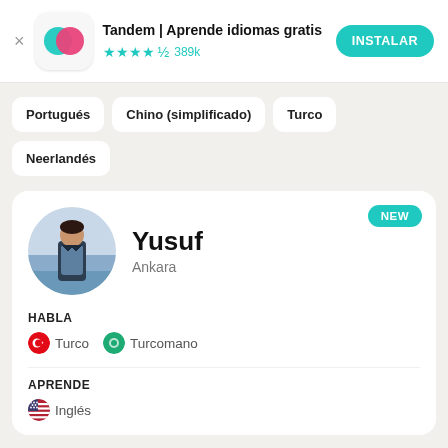[Figure (logo): Tandem app icon with teal and pink overlapping speech bubbles on white rounded square background]
Tandem | Aprende idiomas gratis
★★★★½ 389k
INSTALAR
Portugués
Chino (simplificado)
Turco
Neerlandés
[Figure (photo): Profile photo of Yusuf, a young man standing outdoors near water]
Yusuf
Ankara
NEW
HABLA
🇹🇷 Turco   🌐 Turcomano
APRENDE
🇺🇸 Inglés